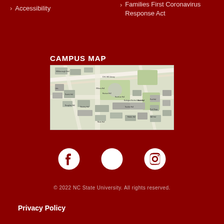> Accessibility
> Families First Coronavirus Response Act
CAMPUS MAP
[Figure (map): Campus map of NC State University showing buildings including Hillsborough Hall, Sarah Hall, Brickyard, D.H. Hill Library, Gardner Hall, Daniels Hall, Williams Hall, Harrison Hall, Harrelson Hall, Odankey Hall, Burlington Nuclear Laboratory, Gardner Hall, Park Shops, Park Hall, Broughton Hall, Miami Hall, Riddick Hall, SAS Hall and other campus buildings with streets and green spaces.]
[Figure (other): Social media icons: Facebook, Twitter, Instagram]
© 2022 NC State University. All rights reserved.
Privacy Policy